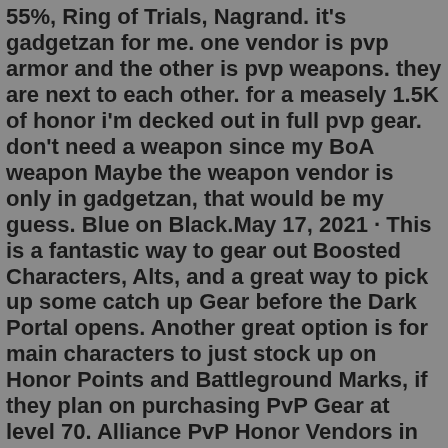55%, Ring of Trials, Nagrand. it's gadgetzan for me. one vendor is pvp armor and the other is pvp weapons. they are next to each other. for a measely 1.5K of honor i'm decked out in full pvp gear. don't need a weapon since my BoA weapon Maybe the weapon vendor is only in gadgetzan, that would be my guess. Blue on Black.May 17, 2021 · This is a fantastic way to gear out Boosted Characters, Alts, and a great way to pick up some catch up Gear before the Dark Portal opens. Another great option is for main characters to just stock up on Honor Points and Battleground Marks, if they plan on purchasing PvP Gear at level 70. Alliance PvP Honor Vendors in Burning Crusade Classic May 17, 2021 · This is a fantastic way to gear out Boosted Characters, Alts, and a great way to pick up some catch up Gear before the Dark Portal opens. Another great option is for main characters to just stock up on Honor Points and Battleground Marks, if they plan on purchasing PvP Gear at level 70. Alliance PvP Honor Vendors in Burning Crusade Classic TBC was honor as a